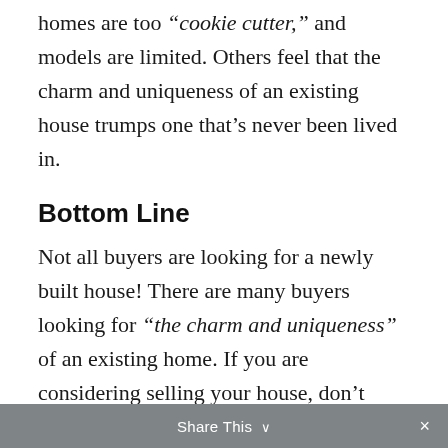homes are too “cookie cutter,” and models are limited. Others feel that the charm and uniqueness of an existing house trumps one that’s never been lived in.
Bottom Line
Not all buyers are looking for a newly built house! There are many buyers looking for “the charm and uniqueness” of an existing home. If you are considering selling your house, don’t wait! Let’s get together to come up with a plan to feature the charming details of your house
Share This ∨  ×